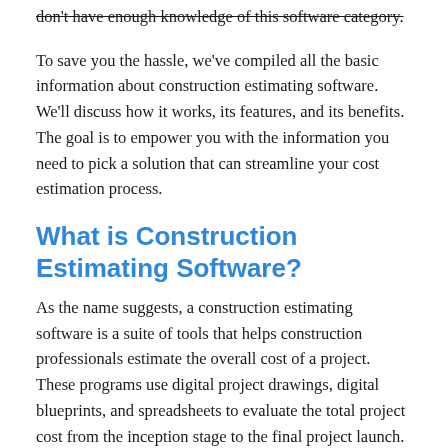don't have enough knowledge of this software category.
To save you the hassle, we've compiled all the basic information about construction estimating software. We'll discuss how it works, its features, and its benefits. The goal is to empower you with the information you need to pick a solution that can streamline your cost estimation process.
What is Construction Estimating Software?
As the name suggests, a construction estimating software is a suite of tools that helps construction professionals estimate the overall cost of a project. These programs use digital project drawings, digital blueprints, and spreadsheets to evaluate the total project cost from the inception stage to the final project launch.
Contractors, engineers, architects, project managers, and even designers leverage construction estimating software to create competitive yet accurate bids. In this way, they can win bids in the